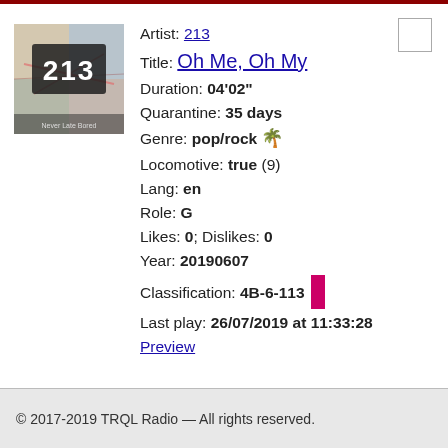[Figure (illustration): Album art thumbnail showing the number '213' on a collage background]
Artist: 213
Title: Oh Me, Oh My
Duration: 04'02"
Quarantine: 35 days
Genre: pop/rock 🌴
Locomotive: true (9)
Lang: en
Role: G
Likes: 0; Dislikes: 0
Year: 20190607
Classification: 4B-6-113
Last play: 26/07/2019 at 11:33:28
Preview
© 2017-2019 TRQL Radio — All rights reserved.